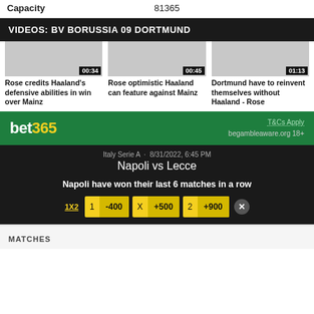| Capacity |  |
| --- | --- |
| Capacity | 81365 |
VIDEOS: BV BORUSSIA 09 DORTMUND
[Figure (screenshot): Three video thumbnails with durations 00:34, 00:45, 01:13]
Rose credits Haaland's defensive abilities in win over Mainz
Rose optimistic Haaland can feature against Mainz
Dortmund have to reinvent themselves without Haaland - Rose
[Figure (infographic): bet365 advertisement banner. Italy Serie A - 8/31/2022, 6:45 PM. Napoli vs Lecce. Napoli have won their last 6 matches in a row. 1X2 odds: 1 -400, X +500, 2 +900. T&Cs Apply begambleaware.org 18+]
MATCHES